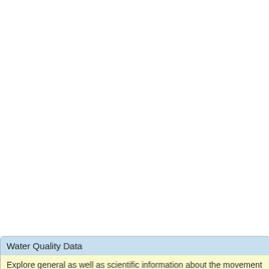Water Quality Data
Explore general as well as scientific information about the movement
| Parameter | Latest Value |
| --- | --- |
| Nitrogen | 1200 ug/l
09/05/2007 12:00
Source: CANALWATC |
| Nitrogen, Kjeldahl | 1200 ug/l
09/05/2007 12:00
Source: CANALWATC |
| Nitrogen, Nitrate (NO3) as N | 25 ug/l
09/05/2007 12:00
Source: CANALWATC |